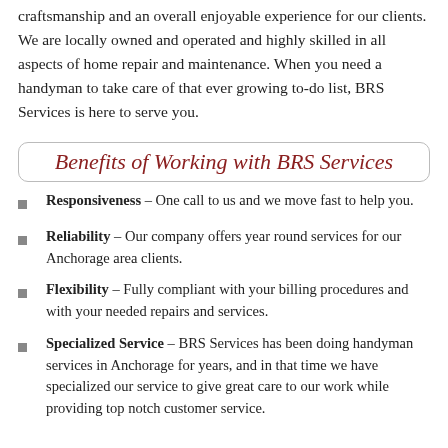craftsmanship and an overall enjoyable experience for our clients. We are locally owned and operated and highly skilled in all aspects of home repair and maintenance. When you need a handyman to take care of that ever growing to-do list, BRS Services is here to serve you.
Benefits of Working with BRS Services
Responsiveness – One call to us and we move fast to help you.
Reliability – Our company offers year round services for our Anchorage area clients.
Flexibility – Fully compliant with your billing procedures and with your needed repairs and services.
Specialized Service – BRS Services has been doing handyman services in Anchorage for years, and in that time we have specialized our service to give great care to our work while providing top notch customer service.